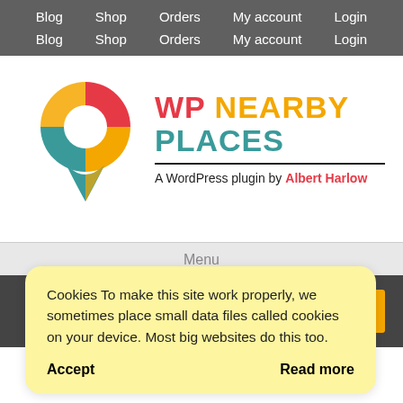Blog  Shop  Orders  My account  Login
Blog  Shop  Orders  My account  Login
[Figure (logo): WP Nearby Places logo — a map pin icon with red, orange, and teal segments and a white circular cutout, alongside the brand name 'WP NEARBY PLACES' and subtitle 'A WordPress plugin by Albert Harlow']
Menu
s Premium
Cookies To make this site work properly, we sometimes place small data files called cookies on your device. Most big websites do this too.
Accept
Read more